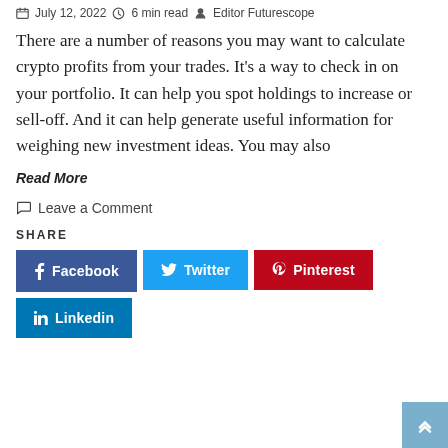July 12, 2022 · 6 min read · Editor Futurescope
There are a number of reasons you may want to calculate crypto profits from your trades. It's a way to check in on your portfolio. It can help you spot holdings to increase or sell-off. And it can help generate useful information for weighing new investment ideas. You may also
Read More
Leave a Comment
SHARE
Facebook  Twitter  Pinterest  Linkedin